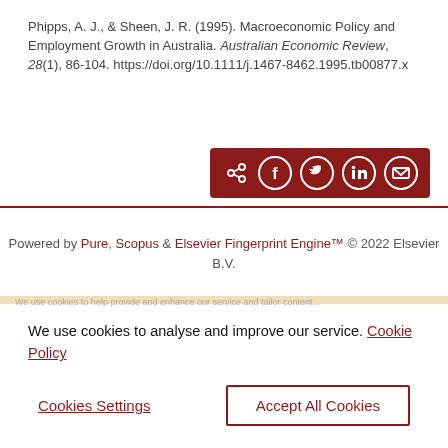Phipps, A. J., & Sheen, J. R. (1995). Macroeconomic Policy and Employment Growth in Australia. Australian Economic Review, 28(1), 86-104. https://doi.org/10.1111/j.1467-8462.1995.tb00877.x
[Figure (other): Dark red share bar with icons for share, Facebook, Twitter, LinkedIn, and email]
Powered by Pure, Scopus & Elsevier Fingerprint Engine™ © 2022 Elsevier B.V.
We use cookies to analyse and improve our service. Cookie Policy
Cookies Settings
Accept All Cookies